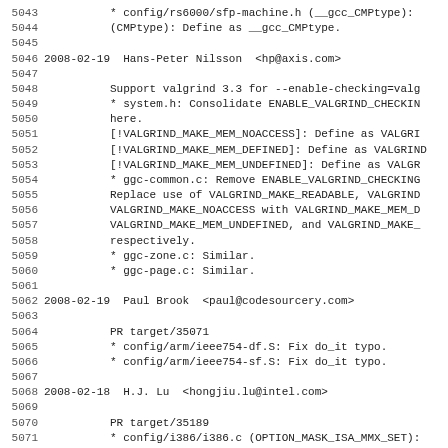5043  * config/rs6000/sfp-machine.h (__gcc_CMPtype):
5044      (CMPtype): Define as __gcc_CMPtype.
5045
5046  2008-02-19  Hans-Peter Nilsson  <hp@axis.com>
5047
5048          Support valgrind 3.3 for --enable-checking=valg
5049          * system.h: Consolidate ENABLE_VALGRIND_CHECKIN
5050          here.
5051          [!VALGRIND_MAKE_MEM_NOACCESS]: Define as VALGRI
5052          [!VALGRIND_MAKE_MEM_DEFINED]: Define as VALGRIND
5053          [!VALGRIND_MAKE_MEM_UNDEFINED]: Define as VALGR
5054          * ggc-common.c: Remove ENABLE_VALGRIND_CHECKING
5055          Replace use of VALGRIND_MAKE_READABLE, VALGRIND
5056          VALGRIND_MAKE_NOACCESS with VALGRIND_MAKE_MEM_D
5057          VALGRIND_MAKE_MEM_UNDEFINED, and VALGRIND_MAKE_
5058          respectively.
5059          * ggc-zone.c: Similar.
5060          * ggc-page.c: Similar.
5061
5062  2008-02-19  Paul Brook  <paul@codesourcery.com>
5063
5064          PR target/35071
5065          * config/arm/ieee754-df.S: Fix do_it typo.
5066          * config/arm/ieee754-sf.S: Fix do_it typo.
5067
5068  2008-02-18  H.J. Lu  <hongjiu.lu@intel.com>
5069
5070          PR target/35189
5071          * config/i386/i386.c (OPTION_MASK_ISA_MMX_SET):
5072          (OPTION_MASK_ISA_3DNOW_SET): Likewise.
5073          (OPTION_MASK_ISA_SSE_SET): Likewise.
5074          (OPTION_MASK_ISA_SSE2_SET): Likewise.